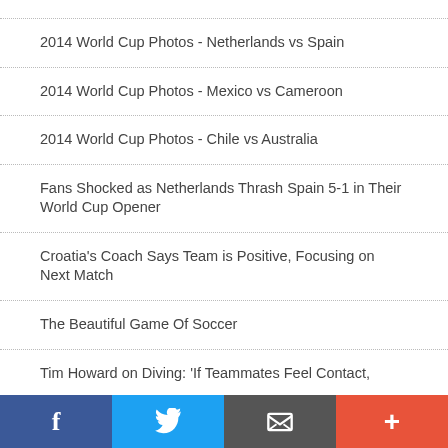2014 World Cup Photos - Netherlands vs Spain
2014 World Cup Photos - Mexico vs Cameroon
2014 World Cup Photos - Chile vs Australia
Fans Shocked as Netherlands Thrash Spain 5-1 in Their World Cup Opener
Croatia's Coach Says Team is Positive, Focusing on Next Match
The Beautiful Game Of Soccer
Tim Howard on Diving: 'If Teammates Feel Contact,
f  Twitter  Email  +